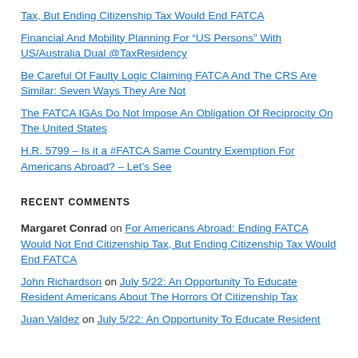Tax, But Ending Citizenship Tax Would End FATCA
Financial And Mobility Planning For “US Persons” With US/Australia Dual @TaxResidency
Be Careful Of Faulty Logic Claiming FATCA And The CRS Are Similar: Seven Ways They Are Not
The FATCA IGAs Do Not Impose An Obligation Of Reciprocity On The United States
H.R. 5799 – Is it a #FATCA Same Country Exemption For Americans Abroad? – Let’s See
RECENT COMMENTS
Margaret Conrad on For Americans Abroad: Ending FATCA Would Not End Citizenship Tax, But Ending Citizenship Tax Would End FATCA
John Richardson on July 5/22: An Opportunity To Educate Resident Americans About The Horrors Of Citizenship Tax
Juan Valdez on July 5/22: An Opportunity To Educate Resident